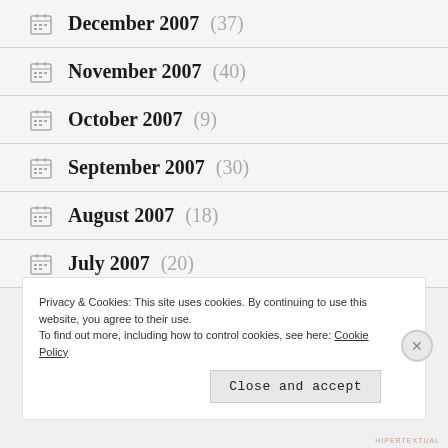December 2007 (37)
November 2007 (40)
October 2007 (9)
September 2007 (30)
August 2007 (18)
July 2007 (20)
Privacy & Cookies: This site uses cookies. By continuing to use this website, you agree to their use.
To find out more, including how to control cookies, see here: Cookie Policy
Close and accept